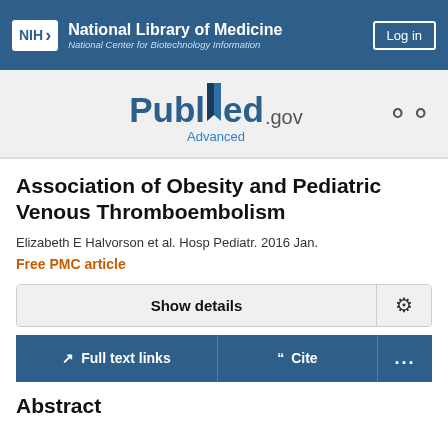NIH National Library of Medicine National Center for Biotechnology Information
[Figure (logo): PubMed.gov logo with search icon and Advanced link]
Association of Obesity and Pediatric Venous Thromboembolism
Elizabeth E Halvorson et al. Hosp Pediatr. 2016 Jan.
Free PMC article
Show details
Full text links   Cite   ...
Abstract